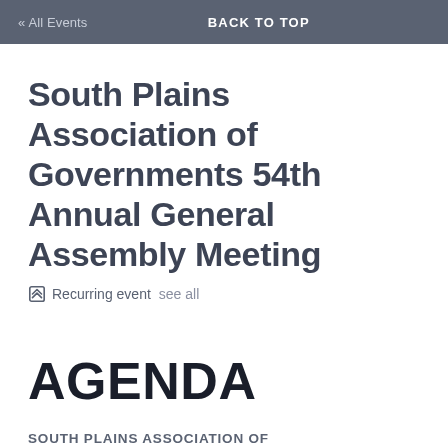« All Events  BACK TO TOP
South Plains Association of Governments 54th Annual General Assembly Meeting
Recurring event  see all
AGENDA
SOUTH PLAINS ASSOCIATION OF GOVERNMENTS
54TH ANNUAL GENERAL ASSEMBLY MEETING